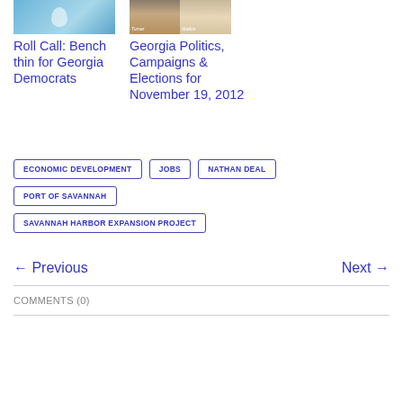[Figure (photo): Blue background thumbnail image with white droplet/water shape]
[Figure (photo): Split thumbnail showing two people, labeled Turner and Walton]
Roll Call: Bench thin for Georgia Democrats
Georgia Politics, Campaigns & Elections for November 19, 2012
ECONOMIC DEVELOPMENT
JOBS
NATHAN DEAL
PORT OF SAVANNAH
SAVANNAH HARBOR EXPANSION PROJECT
← Previous
Next →
COMMENTS (0)